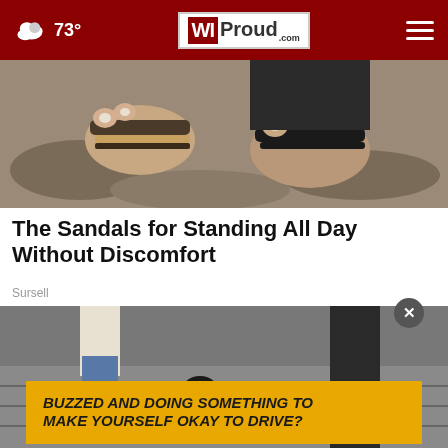73° WIProud.com
[Figure (photo): Close-up of feet wearing sandals/flip-flops on rocky ground]
The Sandals for Standing All Day Without Discomfort
Sursell
[Figure (photo): Street scene with a dog on a red leash near people walking]
BUZZED AND DOING SOMETHING TO MAKE YOURSELF OKAY TO DRIVE?